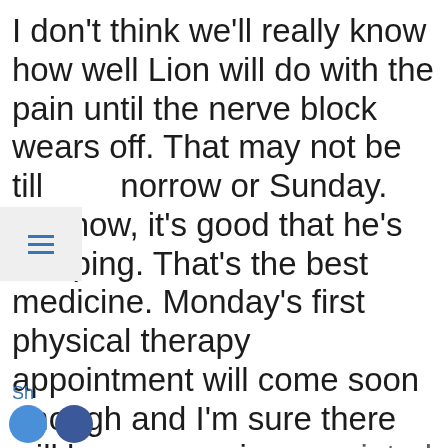I don't think we'll really know how well Lion will do with the pain until the nerve block wears off. That may not be till tomorrow or Sunday. For now, it's good that he's sleeping. That's the best medicine. Monday's first physical therapy appointment will come soon enough and I'm sure there will be some pain associated with it. He needs to stockpile s
Privacy & Cookies: This site uses cookies. By continuing to use this website, you agree to their use.
To find out more, including how to control cookies, see here:
Cookie Policy
Close and accept
Sh